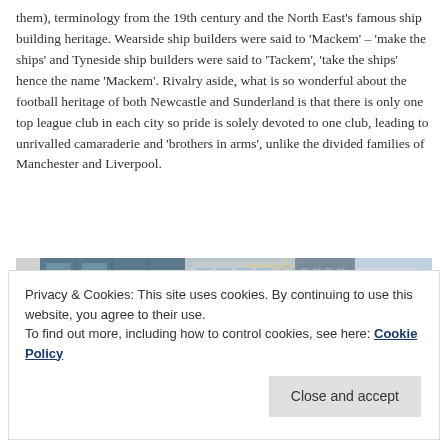them), terminology from the 19th century and the North East's famous ship building heritage.  Wearside ship builders were said to 'Mackem' – 'make the ships' and Tyneside ship builders were said to 'Tackem', 'take the ships' hence the name 'Mackem'.    Rivalry aside, what is so wonderful about the football heritage of both Newcastle and Sunderland is that there is only one top league club in each city so pride is solely devoted to one club, leading to unrivalled camaraderie and 'brothers in arms', unlike the divided families of Manchester and Liverpool.
[Figure (photo): Collage of urban building photographs showing modern glass buildings, construction cranes, and city architecture]
Privacy & Cookies: This site uses cookies. By continuing to use this website, you agree to their use.
To find out more, including how to control cookies, see here: Cookie Policy